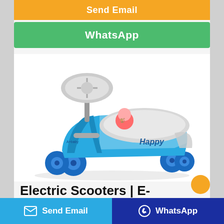Send Email
WhatsApp
[Figure (photo): Blue children's ride-on plasma car / wiggle car toy with a rounded steering wheel, gray seat with a cartoon monkey character and 'Happy' text, blue plastic wheels, on a white background.]
Electric Scooters | E-Scooters | Halfords UK
Send Email
WhatsApp